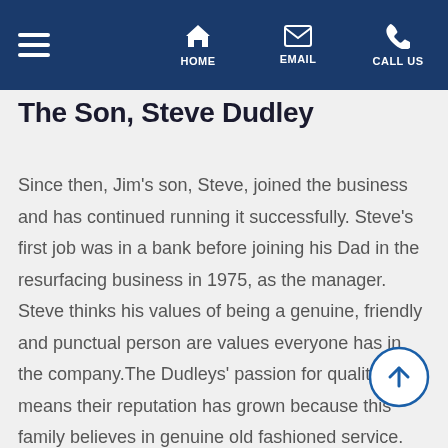HOME  EMAIL  CALL US
The Son, Steve Dudley
Since then, Jim’s son, Steve, joined the business and has continued running it successfully. Steve’s first job was in a bank before joining his Dad in the resurfacing business in 1975, as the manager. Steve thinks his values of being a genuine, friendly and punctual person are values everyone has in the company.The Dudleys’ passion for quality means their reputation has grown because this family believes in genuine old fashioned service. You can visit their display site in South Brisbane, e-